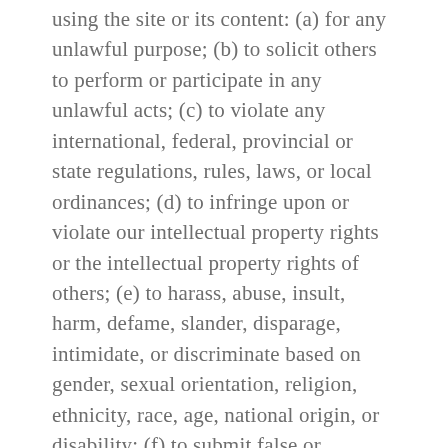using the site or its content: (a) for any unlawful purpose; (b) to solicit others to perform or participate in any unlawful acts; (c) to violate any international, federal, provincial or state regulations, rules, laws, or local ordinances; (d) to infringe upon or violate our intellectual property rights or the intellectual property rights of others; (e) to harass, abuse, insult, harm, defame, slander, disparage, intimidate, or discriminate based on gender, sexual orientation, religion, ethnicity, race, age, national origin, or disability; (f) to submit false or misleading information; (g) to upload or transmit viruses or any other type of malicious code that will or may be used in any way that will affect the functionality or operation of the Service or of any related website, other websites, or the Internet; (h) to collect or track the personal information of others; (i) to spam, phish, pharm, pretext, spider, crawl, or scrape;